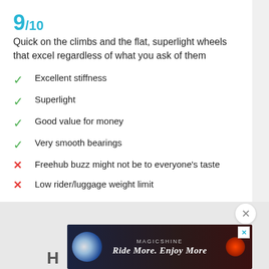9/10
Quick on the climbs and the flat, superlight wheels that excel regardless of what you ask of them
Excellent stiffness
Superlight
Good value for money
Very smooth bearings
Freehub buzz might not be to everyone's taste
Low rider/luggage weight limit
WEIGHT: 1,400g
CONTACT: scribecycling.co.uk
[Figure (screenshot): Advertisement banner for Magicshine showing bicycle lights with text 'Ride More. Enjoy More']